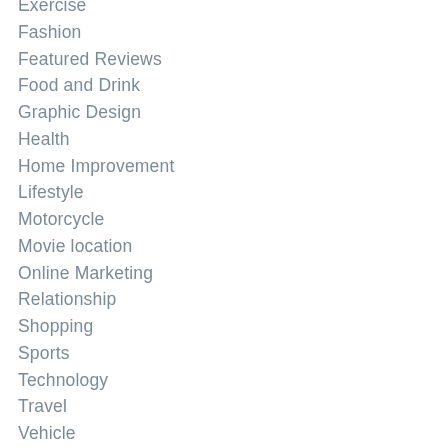Exercise
Fashion
Featured Reviews
Food and Drink
Graphic Design
Health
Home Improvement
Lifestyle
Motorcycle
Movie location
Online Marketing
Relationship
Shopping
Sports
Technology
Travel
Vehicle
Wedding
Well-being